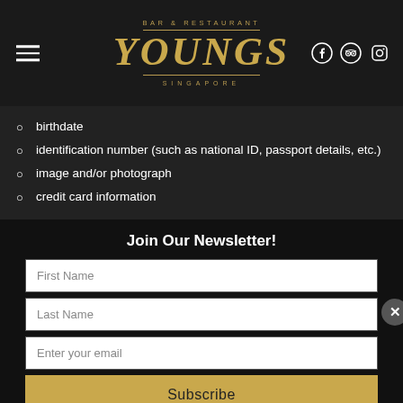[Figure (logo): Youngs Bar & Restaurant Singapore logo with hamburger menu and social media icons (Facebook, TripAdvisor, Instagram)]
birthdate
identification number (such as national ID, passport details, etc.)
image and/or photograph
credit card information
Join Our Newsletter!
First Name
Last Name
Enter your email
Subscribe